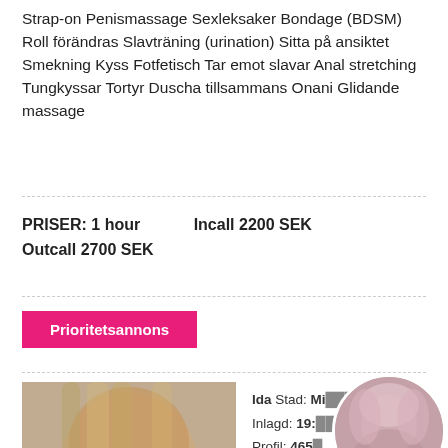Strap-on Penismassage Sexleksaker Bondage (BDSM) Roll förändras Slavträning (urination) Sitta på ansiktet Smekning Kyss Fotfetisch Tar emot slavar Anal stretching Tungkyssar Tortyr Duscha tillsammans Onani Glidande massage
PRISER: 1 hour   Incall 2200 SEK
Outcall 2700 SEK
Prioritetsannons
Ida Stad: Mi...
Inlagd: 19:...
Profil: 465...
Verification:...
Incall/Outcall: Incall